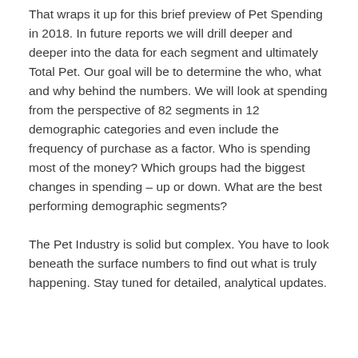That wraps it up for this brief preview of Pet Spending in 2018. In future reports we will drill deeper and deeper into the data for each segment and ultimately Total Pet. Our goal will be to determine the who, what and why behind the numbers. We will look at spending from the perspective of 82 segments in 12 demographic categories and even include the frequency of purchase as a factor. Who is spending most of the money? Which groups had the biggest changes in spending – up or down. What are the best performing demographic segments?
The Pet Industry is solid but complex. You have to look beneath the surface numbers to find out what is truly happening. Stay tuned for detailed, analytical updates.
2018 Top 100 U.S. Retailers – Sales: $2.3 Trillion, Up 4.8%
August 27, 2019  /  in Pet Market  /  by John Gibbons
The U.S. Retail market reached $6.03 Trillion in 2018 from all